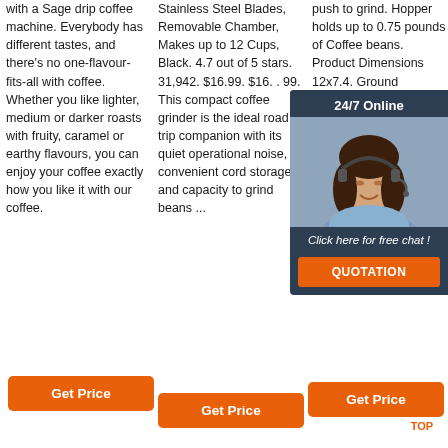with a Sage drip coffee machine. Everybody has different tastes, and there's no one-flavour-fits-all with coffee. Whether you like lighter, medium or darker roasts with fruity, caramel or earthy flavours, you can enjoy your coffee exactly how you like it with our coffee.
Stainless Steel Blades, Removable Chamber, Makes up to 12 Cups, Black. 4.7 out of 5 stars. 31,942. $16.99. $16. . 99. This compact coffee grinder is the ideal road trip companion with its quiet operational noise, convenient cord storage, and capacity to grind beans ...
push to grind. Hopper holds up to 0.75 pounds of Coffee beans. Product Dimensions 12x7.4. Ground container accommodates up to 110 (enough for cups). No water or liquids inside the inside grinder/burrs.
[Figure (photo): Chat popup with woman wearing headset, '24/7 Online' header, 'Click here for free chat!' text, and orange QUOTATION button]
Get Price
Get Price
Get Price
[Figure (logo): Orange TOP button with house/arrow icon]